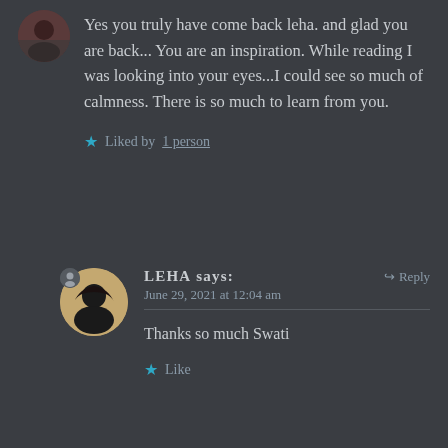[Figure (photo): Circular avatar photo of a person with dark hair, partially visible at top]
Yes you truly have come back leha. and glad you are back... You are an inspiration. While reading I was looking into your eyes...I could see so much of calmness. There is so much to learn from you.
Liked by 1 person
[Figure (photo): Circular avatar photo of Leha, a woman with long dark hair]
LEHA says: June 29, 2021 at 12:04 am
Thanks so much Swati
Like